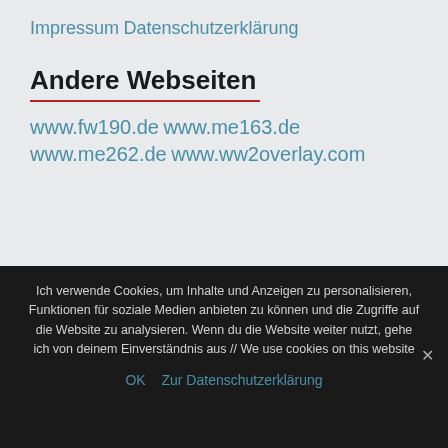Impressum
Datenschutzerklärung
Andere Webseiten
www.fw190.de
www.me163.de
www.me262.de
www.ww2overlay.com
Ich verwende Cookies, um Inhalte und Anzeigen zu personalisieren, Funktionen für soziale Medien anbieten zu können und die Zugriffe auf die Website zu analysieren. Wenn du die Website weiter nutzt, gehe ich von deinem Einverständnis aus // We use cookies on this website
OK   Zur Datenschutzerklärung